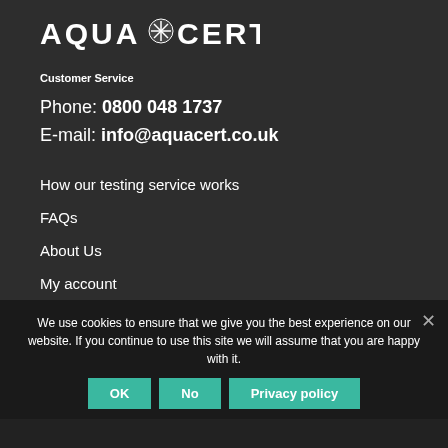[Figure (logo): AquaCert logo with decorative star/snowflake emblem between AQUA and CERT text]
Customer Service
Phone: 0800 048 1737
E-mail: info@aquacert.co.uk
How our testing service works
FAQs
About Us
My account
Contact Us
Privacy Policy
Web Usage Terms
Terms Of Sale
We use cookies to ensure that we give you the best experience on our website. If you continue to use this site we will assume that you are happy with it.